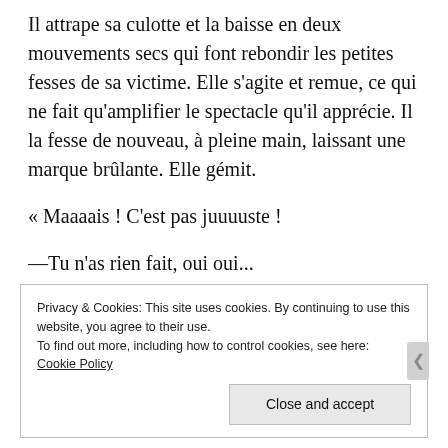Il attrape sa culotte et la baisse en deux mouvements secs qui font rebondir les petites fesses de sa victime. Elle s'agite et remue, ce qui ne fait qu'amplifier le spectacle qu'il apprécie. Il la fesse de nouveau, à pleine main, laissant une marque brûlante. Elle gémit.
« Maaaais ! C'est pas juuuuste !
—Tu n'as rien fait, oui oui...
Privacy & Cookies: This site uses cookies. By continuing to use this website, you agree to their use.
To find out more, including how to control cookies, see here: Cookie Policy
Close and accept